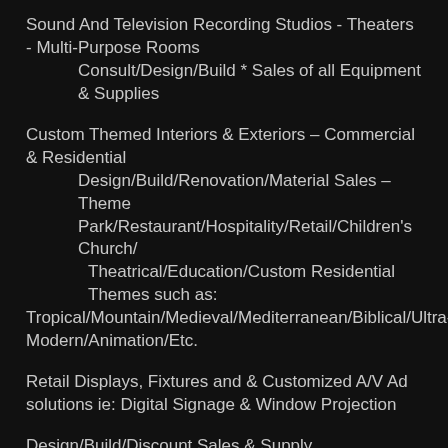Sound And Television Recording Studios - Theaters - Multi-Purpose Rooms
    Consult/Design/Build * Sales of all Equipment & Supplies
Custom Themed Interiors & Exteriors – Commercial & Residential
    Design/Build/Renovation/Material Sales – Theme Park/Restaurant/Hospitality/Retail/Children's Church/
        Theatrical/Education/Custom Residential
        Themes such as:
Tropical/Mountain/Medieval/Mediterranean/Biblical/Ultra-Modern/Animation/Etc.
Retail Displays, Fixtures and & Customized A/V Ad solutions ie: Digital Signage & Window Projection
Design/Build/Discount Sales & Supply